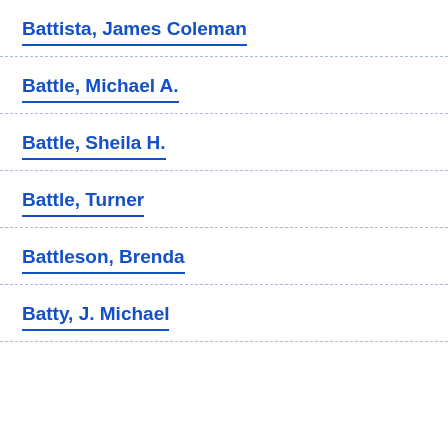Battista, James Coleman
Battle, Michael A.
Battle, Sheila H.
Battle, Turner
Battleson, Brenda
Batty, J. Michael